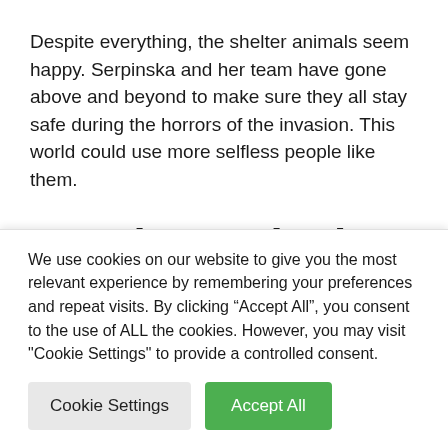Despite everything, the shelter animals seem happy. Serpinska and her team have gone above and beyond to make sure they all stay safe during the horrors of the invasion. This world could use more selfless people like them.
Watch Serpinska's Dedication Here
We use cookies on our website to give you the most relevant experience by remembering your preferences and repeat visits. By clicking “Accept All”, you consent to the use of ALL the cookies. However, you may visit "Cookie Settings" to provide a controlled consent.